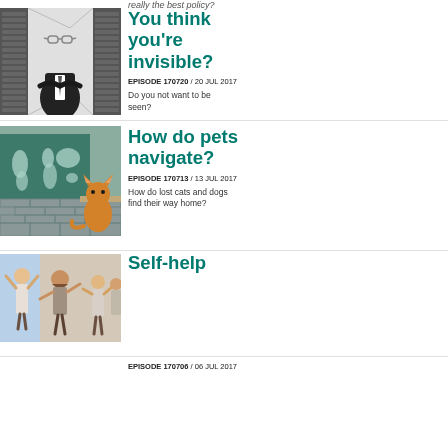really the best policy?
[Figure (photo): Headless invisible man in suit with glasses floating where head should be, standing in front of server racks]
You think you're invisible?
EPISODE 170720 / 20 JUL 2017
Do you not want to be seen?
[Figure (photo): Orange cat sitting on a ledge looking at a world map drawn on a green chalkboard]
How do pets navigate?
EPISODE 170713 / 13 JUL 2017
How do lost cats and dogs find their way home?
[Figure (photo): Group of people cheering with arms raised in a bright office or indoor setting]
Self-help
EPISODE 170706 / 06 JUL 2017